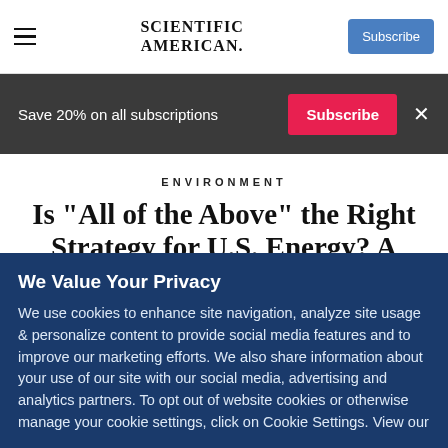SCIENTIFIC AMERICAN
Save 20% on all subscriptions
ENVIRONMENT
Is "All of the Above" the Right Strategy for U.S. Energy? A Q&A with Steven Chu
We Value Your Privacy
We use cookies to enhance site navigation, analyze site usage & personalize content to provide social media features and to improve our marketing efforts. We also share information about your use of our site with our social media, advertising and analytics partners. To opt out of website cookies or otherwise manage your cookie settings, click on Cookie Settings. View our